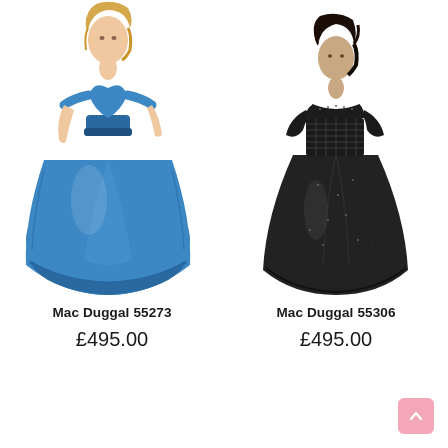[Figure (photo): Model wearing Mac Duggal 55273 blue off-shoulder satin ball gown]
Mac Duggal 55273
£495.00
[Figure (photo): Model wearing Mac Duggal 55306 black cap-sleeve beaded gown]
Mac Duggal 55306
£495.00